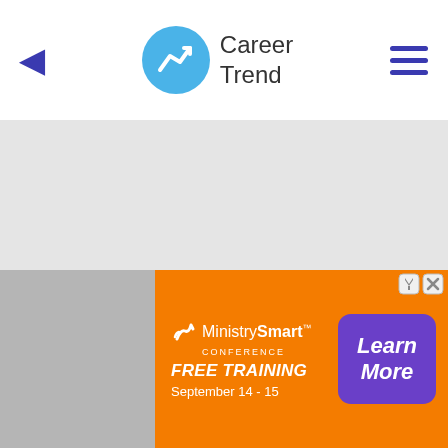Career Trend
[Figure (screenshot): Gray content/ad area with light gray background]
[Figure (infographic): MinistrySmart Conference advertisement banner with orange background, purple Learn More button, Free Training September 14-15]